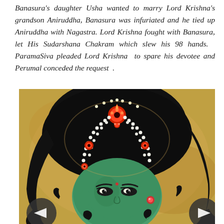Banasura's daughter Usha wanted to marry Lord Krishna's grandson Aniruddha, Banasura was infuriated and he tied up Aniruddha with Nagastra. Lord Krishna fought with Banasura, let His Sudarshana Chakram which slew his 98 hands. ParamaSiva pleaded Lord Krishna to spare his devotee and Perumal conceded the request .
[Figure (illustration): Traditional Indian painting/illustration of Lord Krishna depicted with a green face, dark black hair adorned with elaborate pearl-strung headpiece featuring red jeweled ornaments and floral motifs in red and orange colors against a golden-yellow background. The figure shows expressive eyes and detailed facial features in a classic South Indian painting style.]